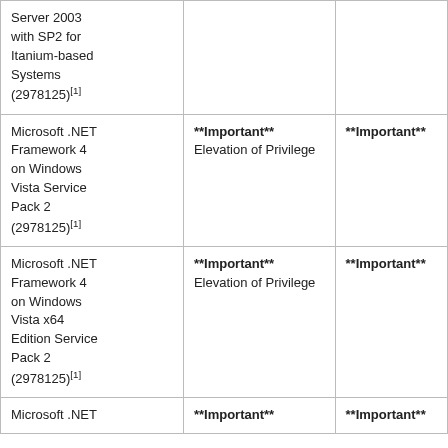| Server 2003 with SP2 for Itanium-based Systems (2978125)[1] |  |  |
| Microsoft .NET Framework 4 on Windows Vista Service Pack 2 (2978125)[1] | **Important** Elevation of Privilege | **Important** |
| Microsoft .NET Framework 4 on Windows Vista x64 Edition Service Pack 2 (2978125)[1] | **Important** Elevation of Privilege | **Important** |
| Microsoft .NET ... | **Important** | **Important** |